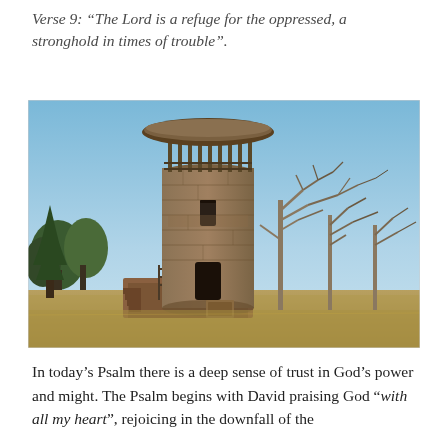Verse 9: “The Lord is a refuge for the oppressed, a stronghold in times of trouble”.
[Figure (photo): A tall cylindrical stone watchtower with a circular observation deck on top, wooden stairs and railings at the base, surrounded by bare deciduous trees and dry grass under a blue sky.]
In today’s Psalm there is a deep sense of trust in God’s power and might. The Psalm begins with David praising God “with all my heart”, rejoicing in the downfall of the